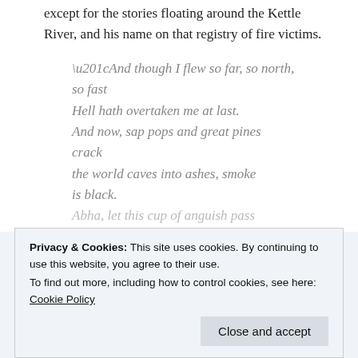except for the stories floating around the Kettle River, and his name on that registry of fire victims.
“And though I flew so far, so north, so fast
Hell hath overtaken me at last.
And now, sap pops and great pines crack
the world caves into ashes, smoke is black.
Abha, let this cup of anguish pass
Privacy & Cookies: This site uses cookies. By continuing to use this website, you agree to their use.
To find out more, including how to control cookies, see here: Cookie Policy